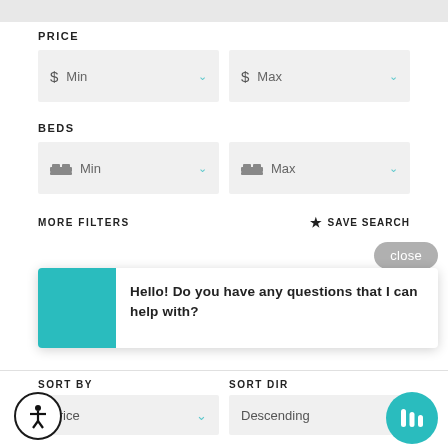PRICE
$ Min
$ Max
BEDS
Min
Max
MORE FILTERS
SAVE SEARCH
close
Hello! Do you have any questions that I can help with?
SORT BY
SORT DIR
Price
Descending